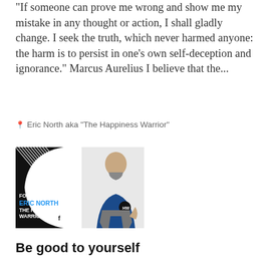"If someone can prove me wrong and show me my mistake in any thought or action, I shall gladly change. I seek the truth, which never harmed anyone: the harm is to persist in one's own self-deception and ignorance." Marcus Aurelius I believe that the...
Eric North aka "The Happiness Warrior"
[Figure (photo): Promotional image for Eric North aka The Happiness Warrior showing a bald man in a blue fitness top with HW logo, standing next to black graphic with text: FOLLOW ERIC NORTH THE HAPPINESS WARRIOR with Facebook and Instagram icons]
Be good to yourself